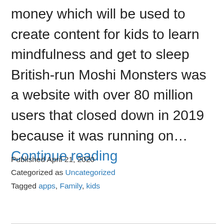money which will be used to create content for kids to learn mindfulness and get to sleep British-run Moshi Monsters was a website with over 80 million users that closed down in 2019 because it was running on… Continue reading
Published April 21, 2020
Categorized as Uncategorized
Tagged apps, Family, kids